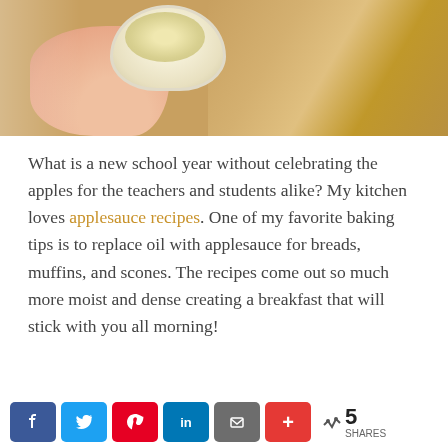[Figure (photo): A hand holding a small cup containing applesauce or similar yellow/creamy food, placed on a wooden surface]
What is a new school year without celebrating the apples for the teachers and students alike? My kitchen loves applesauce recipes. One of my favorite baking tips is to replace oil with applesauce for breads, muffins, and scones. The recipes come out so much more moist and dense creating a breakfast that will stick with you all morning!
[Figure (infographic): Social share bar with Facebook, Twitter, Pinterest, LinkedIn, Gmail, and +More buttons, showing 5 SHARES]